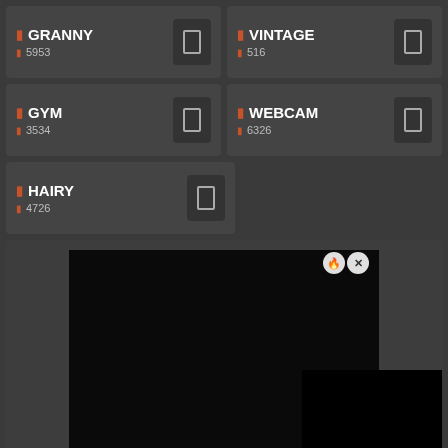GRANNY — 5953
VINTAGE — 516
GYM — 3534
WEBCAM — 6326
HAIRY — 4726
[Figure (screenshot): Dark video preview area with fire and X close buttons in top right corner, and a black rectangle in bottom right]